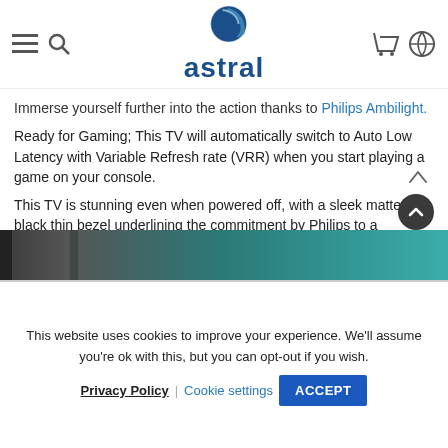astral (logo header with navigation icons)
Immerse yourself further into the action thanks to Philips Ambilight.
Ready for Gaming; This TV will automatically switch to Auto Low Latency with Variable Refresh rate (VRR) when you start playing a game on your console.
This TV is stunning even when powered off, with a sleek matte black thin bezel underlining the commitment by Philips to a distinguished European Design.
[Figure (photo): Dark teal/grey image strip showing part of a TV product image]
This website uses cookies to improve your experience. We'll assume you're ok with this, but you can opt-out if you wish.  Privacy Policy  |  Cookie settings  ACCEPT